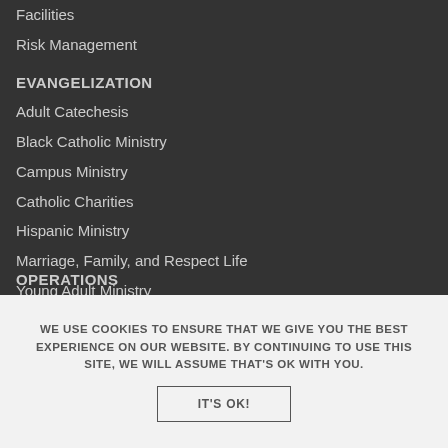Facilities
Risk Management
EVANGELIZATION
Adult Catechesis
Black Catholic Ministry
Campus Ministry
Catholic Charities
Hispanic Ministry
Marriage, Family, and Respect Life
Young Adult Ministry
OPERATIONS
WE USE COOKIES TO ENSURE THAT WE GIVE YOU THE BEST EXPERIENCE ON OUR WEBSITE. BY CONTINUING TO USE THIS SITE, WE WILL ASSUME THAT'S OK WITH YOU.
IT'S OK!